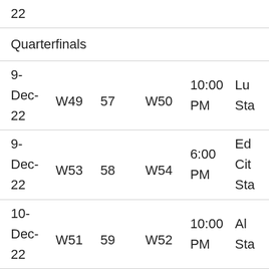| Date | Team 1 | Match | Team 2 | Time | Venue |
| --- | --- | --- | --- | --- | --- |
| 22 |  |  |  |  |  |
| Quarterfinals |  |  |  |  |  |
| 9-
Dec-
22 | W49 | 57 | W50 | 10:00 PM | Lu
Sta |
| 9-
Dec-
22 | W53 | 58 | W54 | 6:00 PM | Ed
Cit
Sta |
| 10-
Dec-
22 | W51 | 59 | W52 | 10:00 PM | Al
Sta |
| 10- |  |  |  | 6:00 | Al |